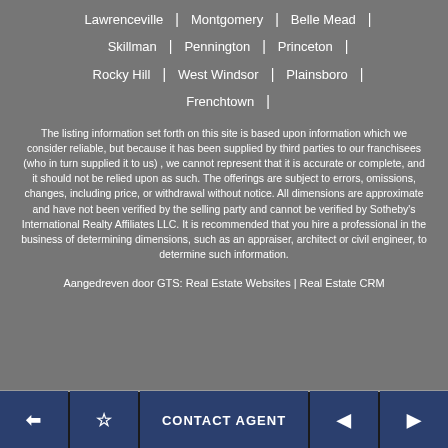Lawrenceville | Montgomery | Belle Mead | Skillman | Pennington | Princeton | Rocky Hill | West Windsor | Plainsboro | Frenchtown |
The listing information set forth on this site is based upon information which we consider reliable, but because it has been supplied by third parties to our franchisees (who in turn supplied it to us) , we cannot represent that it is accurate or complete, and it should not be relied upon as such. The offerings are subject to errors, omissions, changes, including price, or withdrawal without notice. All dimensions are approximate and have not been verified by the selling party and cannot be verified by Sotheby's International Realty Affiliates LLC. It is recommended that you hire a professional in the business of determining dimensions, such as an appraiser, architect or civil engineer, to determine such information.
Aangedreven door GTS: Real Estate Websites | Real Estate CRM
← ☆ CONTACT AGENT ◄ ►